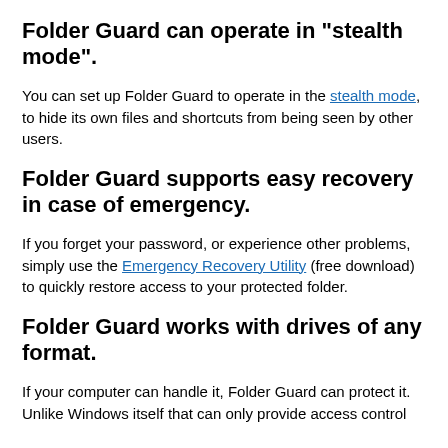Folder Guard can operate in "stealth mode".
You can set up Folder Guard to operate in the stealth mode, to hide its own files and shortcuts from being seen by other users.
Folder Guard supports easy recovery in case of emergency.
If you forget your password, or experience other problems, simply use the Emergency Recovery Utility (free download) to quickly restore access to your protected folder.
Folder Guard works with drives of any format.
If your computer can handle it, Folder Guard can protect it. Unlike Windows itself that can only provide access control